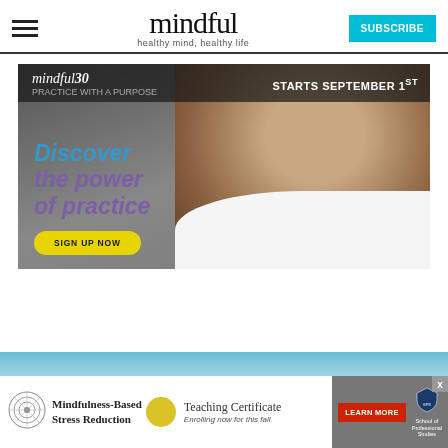mindful — healthy mind, healthy life — SUBSCRIBE
[Figure (photo): Mindful30 advertisement banner: Man lying down smiling, text 'Discover the power of practice', 'STARTS SEPTEMBER 1ST', 'mindful30', 'SIGN UP NOW' button]
[Figure (photo): Mindfulness-Based Stress Reduction Teaching Certificate advertisement banner with mandala icon, 'Enrolling now for this fall', LEARN MORE button, School of Professional Studies logo]